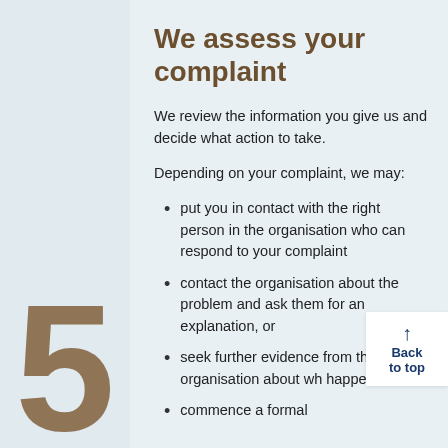We assess your complaint
We review the information you give us and decide what action to take.
Depending on your complaint, we may:
put you in contact with the right person in the organisation who can respond to your complaint
contact the organisation about the problem and ask them for an explanation, or
seek further evidence from the organisation about what happened,
commence a formal
5
Back to top